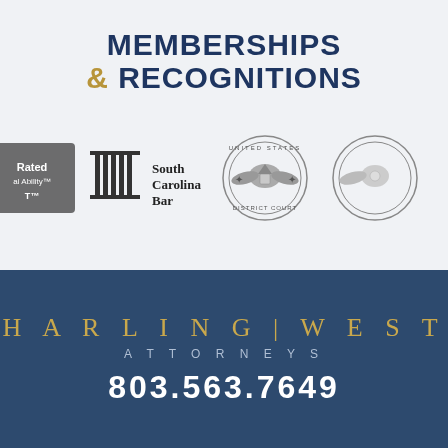MEMBERSHIPS & RECOGNITIONS
[Figure (logo): Row of membership and recognition logos: Rated Legal Ability TM, South Carolina Bar, United States District Court seal, another US District Court seal (partially visible)]
HARLING | WEST
ATTORNEYS
803.563.7649